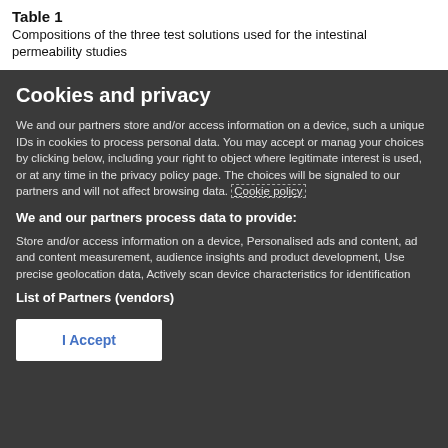Table 1
Compositions of the three test solutions used for the intestinal permeability studies
Cookies and privacy
We and our partners store and/or access information on a device, such as unique IDs in cookies to process personal data. You may accept or manage your choices by clicking below, including your right to object where legitimate interest is used, or at any time in the privacy policy page. These choices will be signaled to our partners and will not affect browsing data. Cookie policy
We and our partners process data to provide:
Store and/or access information on a device, Personalised ads and content, ad and content measurement, audience insights and product development, Use precise geolocation data, Actively scan device characteristics for identification
List of Partners (vendors)